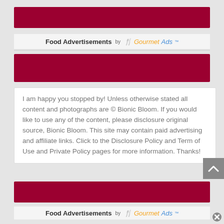[Figure (other): Dark red/crimson advertisement banner placeholder (top)]
Food Advertisements by GourmetAds™
[Figure (other): Dark red/crimson advertisement banner placeholder (middle)]
I am happy you stopped by! Unless otherwise stated all content and photographs are © Bionic Bloom. If you would like to use any of the content, please disclosure original source, Bionic Bloom. This site may contain paid advertising and affiliate links. Click to the Disclosure Policy and Term of Use and Private Policy pages for more information. Thanks!
[Figure (other): Dark red/crimson advertisement banner placeholder (bottom)]
Food Advertisements by GourmetAds™